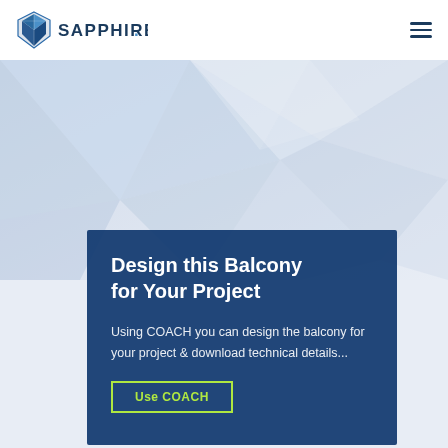[Figure (logo): Sapphire logo — diamond shield icon in blue and grey with SAPPHIRE text in dark blue capitals]
[Figure (illustration): Abstract geometric polygon background in light blue and grey tones, simulating a low-poly crystalline surface]
Design this Balcony for Your Project
Using COACH you can design the balcony for your project & download technical details...
Use COACH